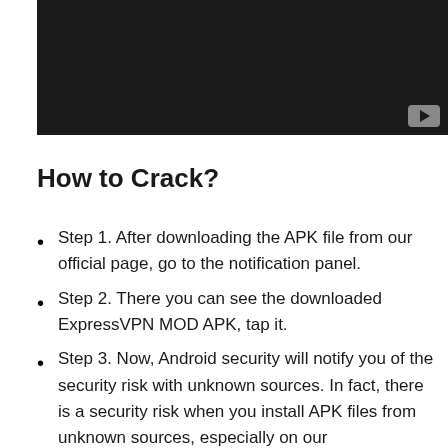[Figure (screenshot): Dark/black video player thumbnail with a YouTube play button icon in the bottom-right corner]
How to Crack?
Step 1. After downloading the APK file from our official page, go to the notification panel.
Step 2. There you can see the downloaded ExpressVPN MOD APK, tap it.
Step 3. Now, Android security will notify you of the security risk with unknown sources. In fact, there is a security risk when you install APK files from unknown sources, especially on our